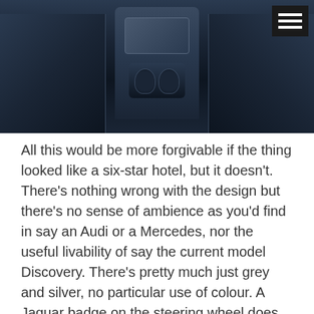[Figure (photo): Car interior showing dark leather seats and center console with cup holders and control screen, viewed from rear]
All this would be more forgivable if the thing looked like a six-star hotel, but it doesn't. There's nothing wrong with the design but there's no sense of ambience as you'd find in say an Audi or a Mercedes, nor the useful livability of say the current model Discovery. There's pretty much just grey and silver, no particular use of colour. A Jaguar badge on the steering wheel does not a style icon make.
Moving into the second row and things improve. Here we have more USBs and 12vs, so the modern child will be quietly happy, and the dual rear